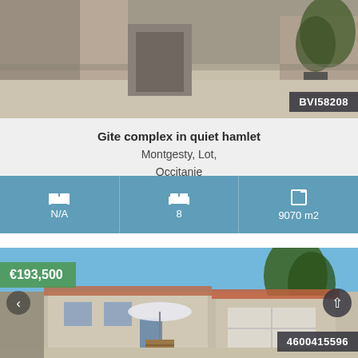[Figure (photo): Exterior photo of a stone courtyard/pathway of a gite complex with plants and pots in the background, with reference badge BVI58208]
Gite complex in quiet hamlet
Montgesty, Lot, Occitanie
N/A
8
9070 m2
[Figure (photo): Exterior photo of a French country house with garage, umbrella, barrel in foreground, blue sky. Price badge €193,500 and reference 4600415596]